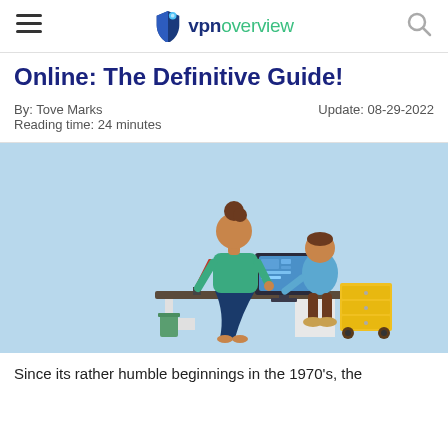vpnoverview
Online: The Definitive Guide!
By: Tove Marks
Reading time: 24 minutes
Update: 08-29-2022
[Figure (illustration): Illustration of a woman standing next to a desk where a child sits using a desktop computer. There is a red desk lamp, a yellow filing cabinet, a trash can, and other office items visible. The background is a light blue color.]
Since its rather humble beginnings in the 1970's, the